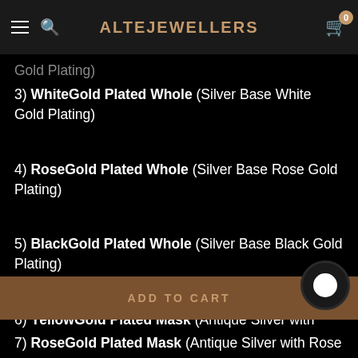ALTEJEWELLERS
Gold Plating)
3) WhiteGold Plated Whole (Silver Base White Gold Plating)
4) RoseGold Plated Whole (Silver Base Rose Gold Plating)
5) BlackGold Plated Whole (Silver Base Black Gold Plating)
6) YellowGold Plated Mask (Antique Silver with
ADD TO CART
7) RoseGold Plated Mask (Antique Silver with Rose